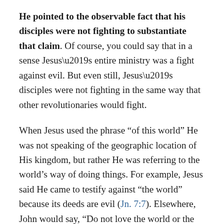He pointed to the observable fact that his disciples were not fighting to substantiate that claim. Of course, you could say that in a sense Jesus's entire ministry was a fight against evil. But even still, Jesus's disciples were not fighting in the same way that other revolutionaries would fight.
When Jesus used the phrase “of this world” He was not speaking of the geographic location of His kingdom, but rather He was referring to the world’s way of doing things. For example, Jesus said He came to testify against “the world” because its deeds are evil (Jn. 7:7). Elsewhere, John would say, “Do not love the world or the things in the world. If anyone loves the world, the love of the Father is not in him” (1 John 2:15). The